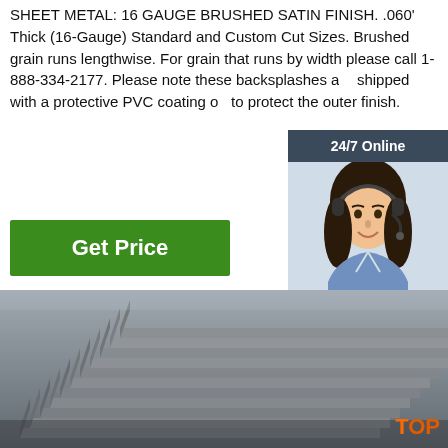SHEET METAL: 16 GAUGE BRUSHED SATIN FINISH. .060' Thick (16-Gauge) Standard and Custom Cut Sizes. Brushed grain runs lengthwise. For grain that runs by width please call 1-888-334-2177. Please note these backsplashes are shipped with a protective PVC coating on to protect the outer finish.
[Figure (other): Customer service representative with headset, 24/7 Online chat widget with 'Click here for free chat!' and orange QUOTATION button]
Get Price
[Figure (photo): Stack of steel angle iron / L-shaped metal profiles piled on top of each other, dark grey metal, viewed from the side showing the angular L-shapes stacked in a row.]